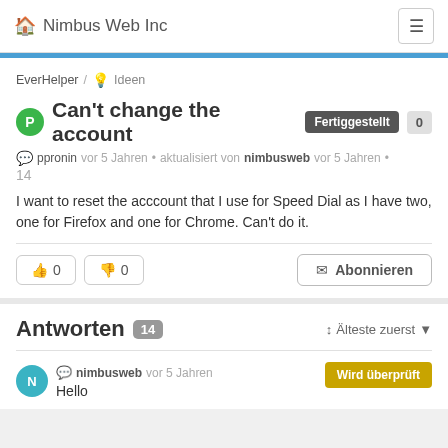Nimbus Web Inc
EverHelper / 💡 Ideen
Can't change the account
ppronin vor 5 Jahren • aktualisiert von nimbusweb vor 5 Jahren • 14
I want to reset the acccount that I use for Speed Dial as I have two, one for Firefox and one for Chrome. Can't do it.
👍 0  👎 0   ✉ Abonnieren
Antworten 14
nimbusweb vor 5 Jahren   Wird überprüft
Hello